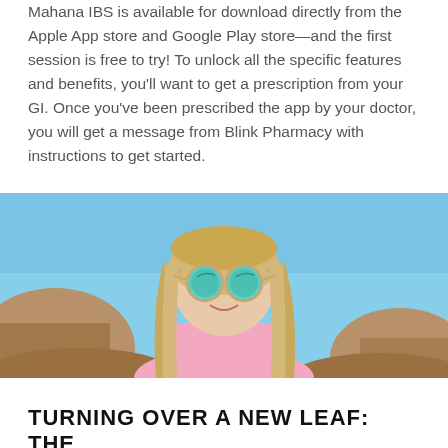Mahana IBS is available for download directly from the Apple App store and Google Play store—and the first session is free to try! To unlock all the specific features and benefits, you'll want to get a prescription from your GI. Once you've been prescribed the app by your doctor, you will get a message from Blink Pharmacy with instructions to get started.
[Figure (photo): A woman with long blonde hair wearing teal mirrored round sunglasses and a pink t-shirt, smiling outdoors against a clear blue sky with rocky terrain in the background.]
TURNING OVER A NEW LEAF: THE